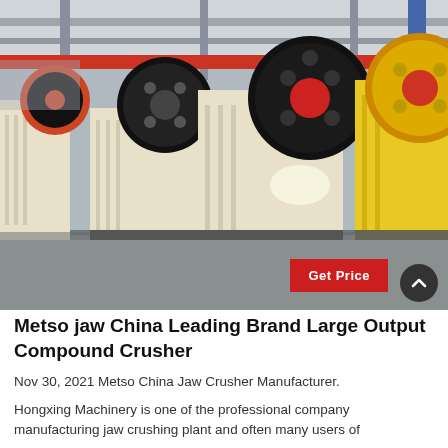[Figure (photo): Industrial factory floor showing multiple large jaw crusher machines lined up in a row. Machines are cream/beige colored with large black and orange/yellow flywheels. The factory has a high ceiling with steel beams and overhead cranes visible.]
Metso jaw China Leading Brand Large Output Compound Crusher
Nov 30, 2021 Metso China Jaw Crusher Manufacturer.
Hongxing Machinery is one of the professional company manufacturing jaw crushing plant and often many users of